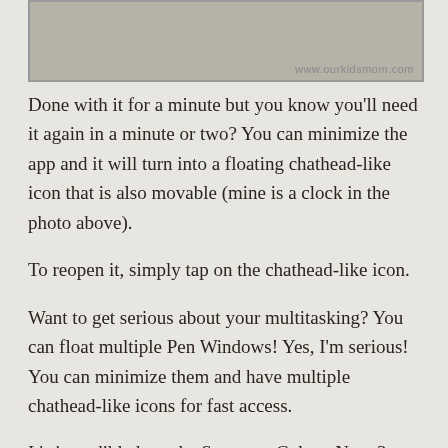[Figure (photo): Top portion of a photo with a stone/concrete texture background, watermarked with www.ourkidsmom.com]
Done with it for a minute but you know you’ll need it again in a minute or two? You can minimize the app and it will turn into a floating chathead-like icon that is also movable (mine is a clock in the photo above).
To reopen it, simply tap on the chathead-like icon.
Want to get serious about your multitasking? You can float multiple Pen Windows! Yes, I’m serious! You can minimize them and have multiple chathead-like icons for fast access.
It’s incredible how the Samsung Galaxy Note 3 helps you stay on top of your game, keep you organized and productive while still keeping you connected on the Verizon network. I never have any issues, while my friends on T-Mobile often ask me to hotspot so they can connect.